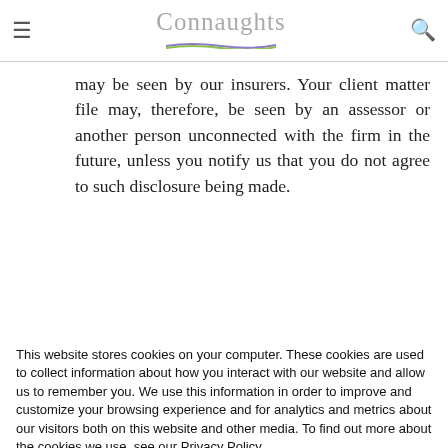Connaughts
may be seen by our insurers. Your client matter file may, therefore, be seen by an assessor or another person unconnected with the firm in the future, unless you notify us that you do not agree to such disclosure being made.
This website stores cookies on your computer. These cookies are used to collect information about how you interact with our website and allow us to remember you. We use this information in order to improve and customize your browsing experience and for analytics and metrics about our visitors both on this website and other media. To find out more about the cookies we use, see our Privacy Policy.
If you decline, your information won't be tracked when you visit this website. A single cookie will be used in your browser to remember your preference not to be tracked.